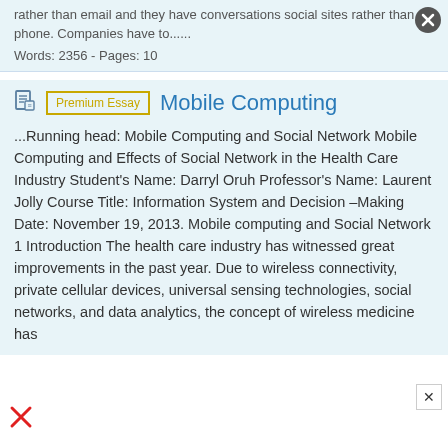rather than email and they have conversations social sites rather than phone. Companies have to......
Words: 2356 - Pages: 10
Mobile Computing
...Running head: Mobile Computing and Social Network Mobile Computing and Effects of Social Network in the Health Care Industry Student's Name: Darryl Oruh Professor's Name: Laurent Jolly Course Title: Information System and Decision –Making Date: November 19, 2013. Mobile computing and Social Network 1 Introduction The health care industry has witnessed great improvements in the past year. Due to wireless connectivity, private cellular devices, universal sensing technologies, social networks, and data analytics, the concept of wireless medicine has